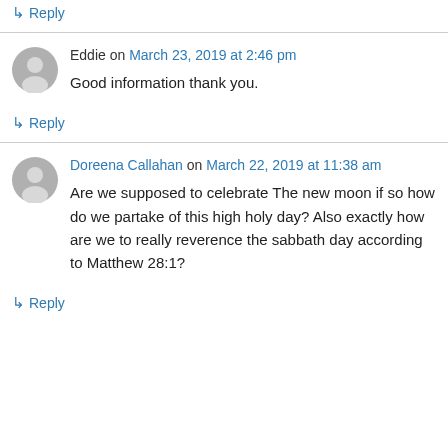↳ Reply
Eddie on March 23, 2019 at 2:46 pm
Good information thank you.
↳ Reply
Doreena Callahan on March 22, 2019 at 11:38 am
Are we supposed to celebrate The new moon if so how do we partake of this high holy day? Also exactly how are we to really reverence the sabbath day according to Matthew 28:1?
↳ Reply